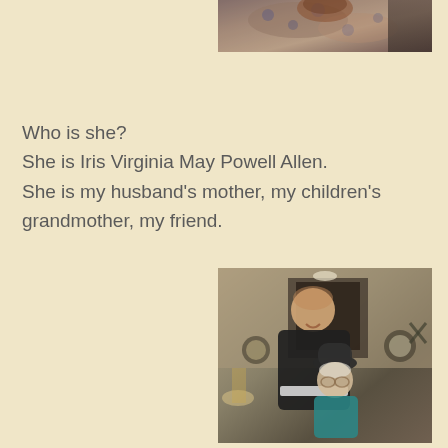[Figure (photo): Partial photo visible at top of page, cropped — appears to show a person with colorful patterned fabric/clothing, sepia/muted tones]
Who is she?
She is Iris Virginia May Powell Allen.
She is my husband's mother, my children's grandmother, my friend.
[Figure (photo): Photo of two people standing together indoors — a taller man in a black t-shirt with white stripe, and a shorter elderly woman wearing a dark hat and teal top, in what appears to be a living room]